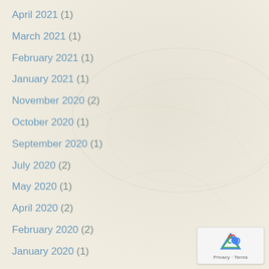April 2021 (1)
March 2021 (1)
February 2021 (1)
January 2021 (1)
November 2020 (2)
October 2020 (1)
September 2020 (1)
July 2020 (2)
May 2020 (1)
April 2020 (2)
February 2020 (2)
January 2020 (1)
December 2019 (1)
October 2019 (1)
September 2019 (1)